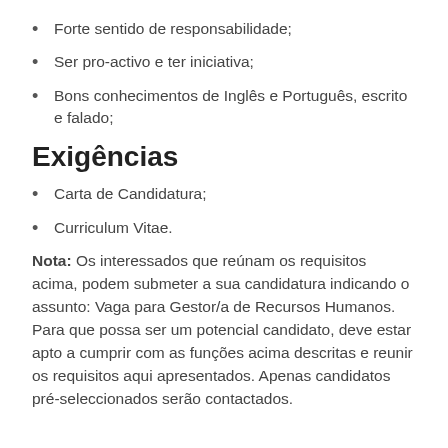Forte sentido de responsabilidade;
Ser pro-activo e ter iniciativa;
Bons conhecimentos de Inglês e Português, escrito e falado;
Exigências
Carta de Candidatura;
Curriculum Vitae.
Nota: Os interessados que reúnam os requisitos acima, podem submeter a sua candidatura indicando o assunto: Vaga para Gestor/a de Recursos Humanos. Para que possa ser um potencial candidato, deve estar apto a cumprir com as funções acima descritas e reunir os requisitos aqui apresentados. Apenas candidatos pré-seleccionados serão contactados.